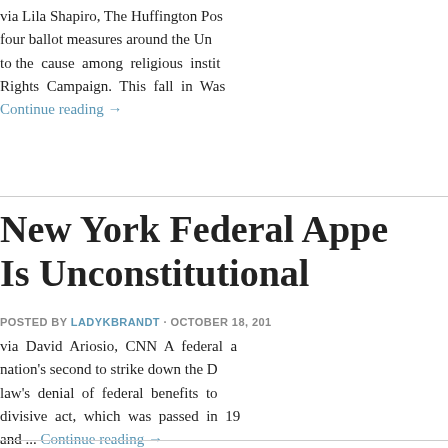via Lila Shapiro, The Huffington Post four ballot measures around the Un to the cause among religious insti Rights Campaign. This fall in Wash
Continue reading →
New York Federal Appe Is Unconstitutional
POSTED BY LADYKBRANDT · OCTOBER 18, 201
via David Ariosio, CNN A federal a nation's second to strike down the D law's denial of federal benefits to divisive act, which was passed in 19 and ... Continue reading →
The Election's Impact O
POSTED BY LADYKBRANDT · OCTOBER 17, 201
via Bob Egelko, San Francisco Chroni the direction of the Supreme Court corporate influence in politics and m campaign, apart from Vice Presiden